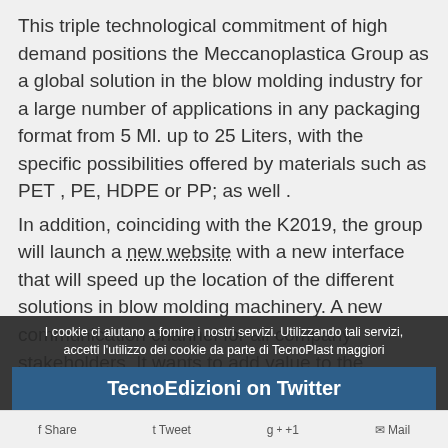This triple technological commitment of high demand positions the Meccanoplastica Group as a global solution in the blow molding industry for a large number of applications in any packaging format from 5 Ml. up to 25 Liters, with the specific possibilities offered by materials such as PET , PE, HDPE or PP; as well .
In addition, coinciding with the K2019, the group will launch a new website with a new interface that will speed up the location of the different solutions in blow molding machinery. A new communication channel for all company stakeholders. It wants to add value to the personalized advice in each project and to the versatility of the Meccanoplastica machinery. It wants to be a plat[form]... also the d[ifferent]... when it is...
I cookie ci aiutano a fornire i nostri servizi. Utilizzando tali servizi, accetti l'utilizzo dei cookie da parte di TecnoPlast maggiori
TecnoEdizioni on Twitter
Share   Tweet   +1   Mail